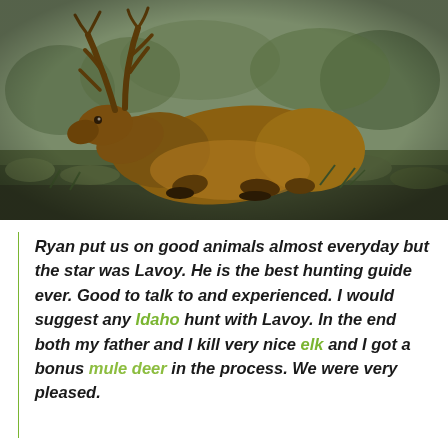[Figure (photo): A large bull elk with antlers lying on the ground in scrubby brush and sagebrush terrain. The elk is reddish-brown in color, resting on its side amid dry vegetation.]
Ryan put us on good animals almost everyday but the star was Lavoy. He is the best hunting guide ever. Good to talk to and experienced. I would suggest any Idaho hunt with Lavoy. In the end both my father and I kill very nice elk and I got a bonus mule deer in the process. We were very pleased.